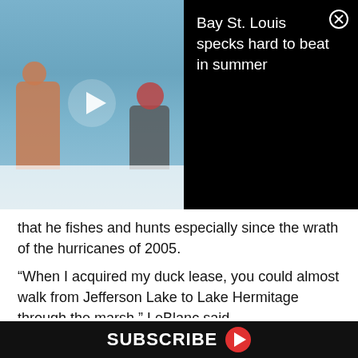[Figure (screenshot): Video thumbnail showing two people fishing on a boat on open water, with a play button overlay. To the right is a black panel with the video title 'Bay St. Louis specks hard to beat in summer' and a close (X) button.]
that he fishes and hunts especially since the wrath of the hurricanes of 2005.
“When I acquired my duck lease, you could almost walk from Jefferson Lake to Lake Hermitage through the marsh,” LeBlanc said.
Sadly, he laments what is left of the land would fit in the back of his pickup truck.
As for the fishing, LeBlanc feels it is still as good as ever, but it varies from year to year.
SUBSCRIBE